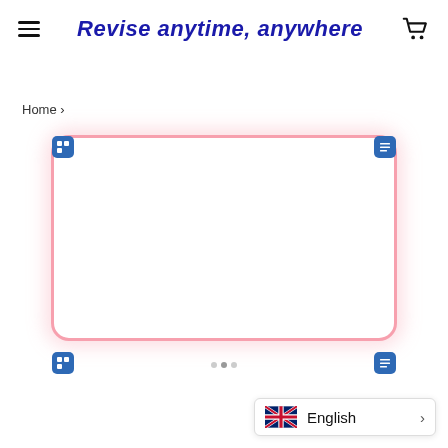Revise anytime, anywhere
Home ›
[Figure (screenshot): A flashcard study interface with a pink-bordered card area, blue corner icons, navigation dots at the bottom, and blurred card content.]
English ›